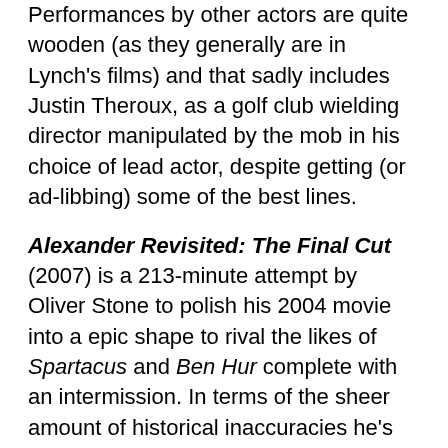Performances by other actors are quite wooden (as they generally are in Lynch's films) and that sadly includes Justin Theroux, as a golf club wielding director manipulated by the mob in his choice of lead actor, despite getting (or ad-libbing) some of the best lines.
Alexander Revisited: The Final Cut (2007) is a 213-minute attempt by Oliver Stone to polish his 2004 movie into a epic shape to rival the likes of Spartacus and Ben Hur complete with an intermission. In terms of the sheer amount of historical inaccuracies he's done a really good job of emulating the farcical Golden Age epics, from the size of the horses, the time-travelling lighthouse at Alexandria, who